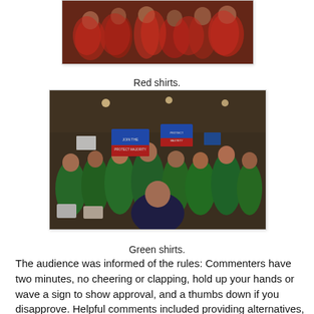[Figure (photo): Crowd of people in red shirts at an event, partially visible at top of page]
Red shirts.
[Figure (photo): Crowd of people in green shirts at an event, holding up signs, seated in a large hall]
Green shirts.
The audience was informed of the rules: Commenters have two minutes, no cheering or clapping, hold up your hands or wave a sign to show approval, and a thumbs down if you disapprove. Helpful comments included providing alternatives, affected resources, adverse impacts, and ways to mitigate effects. Anything else would not be considered a